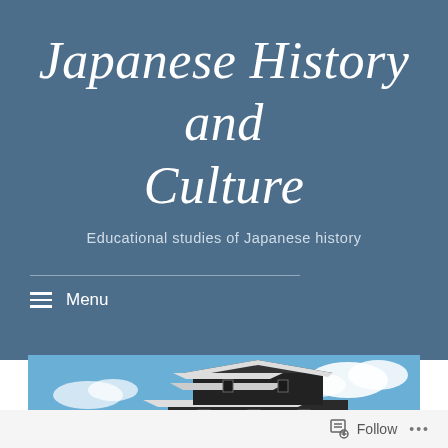Japanese History and Culture
Educational studies of Japanese history
Menu
[Figure (photo): Photograph of a traditional Japanese castle (likely Kumamoto Castle) with multi-tiered black and white roofs against a blue sky with clouds, with green trees visible at the base.]
Follow ...